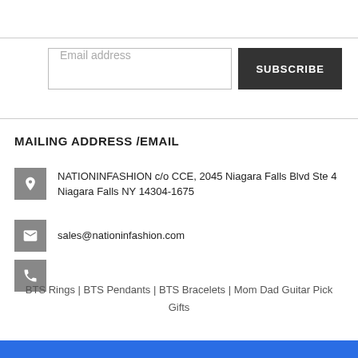Email address
SUBSCRIBE
MAILING ADDRESS /EMAIL
NATIONINFASHION c/o CCE, 2045 Niagara Falls Blvd Ste 4 Niagara Falls NY 14304-1675
sales@nationinfashion.com
BTS Rings | BTS Pendants | BTS Bracelets | Mom Dad Guitar Pick Gifts